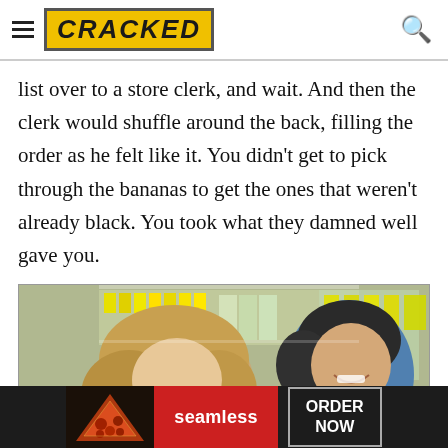CRACKED
list over to a store clerk, and wait. And then the clerk would shuffle around the back, filling the order as he felt like it. You didn't get to pick through the bananas to get the ones that weren't already black. You took what they damned well gave you.
[Figure (photo): Two people smiling in a grocery store, with store shelves and produce visible in the background.]
[Figure (screenshot): Advertisement bar at bottom: Seamless food ordering ad with pizza image, 'seamless' red button, and 'ORDER NOW' button.]